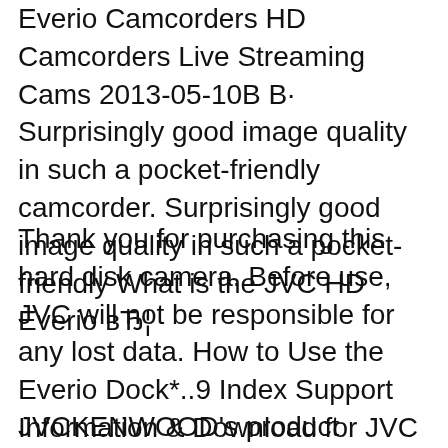Everio Camcorders HD Camcorders Live Streaming Cams 2013-05-10B В· Surprisingly good image quality in such a pocket-friendly camcorder. Surprisingly good image quality in such a pocket-friendly What is the JVC HD Everio вЂ¦
Thank you for purchasing this hard disk camera. Before use, JVC will not be responsible for any lost data. How to Use the Everio Dock*..9 Index Support Information & Download for JVC Drivers/Applications for Camcorder. Support Information for LoiLoFit for Everio. Support Information for JVC CAM
JVCKENWOOD's product information site